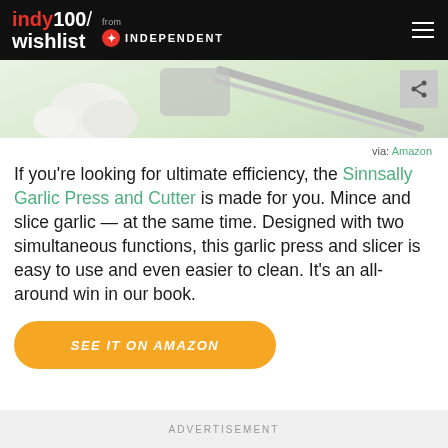indy100/ wishlist from INDEPENDENT
[Figure (photo): Partial photo of garlic and a kitchen tool/grater on a light green background, cropped at top]
via: Amazon
If you're looking for ultimate efficiency, the Sinnsally Garlic Press and Cutter is made for you. Mince and slice garlic — at the same time. Designed with two simultaneous functions, this garlic press and slicer is easy to use and even easier to clean. It's an all-around win in our book.
SEE IT ON AMAZON
ADVERTISEMENT